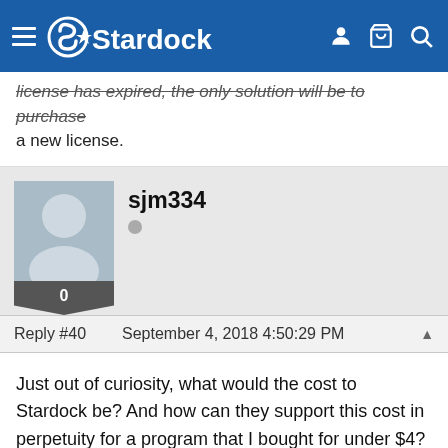Stardock
license has expired, the only solution will be to purchase a new license.
sjm334
Reply #40   September 4, 2018 4:50:29 PM
0
Just out of curiosity, what would the cost to Stardock be? And how can they support this cost in perpetuity for a program that I bought for under $4?
XXXiKanoXXX
0